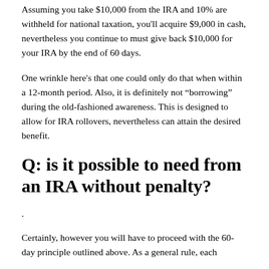Assuming you take $10,000 from the IRA and 10% are withheld for national taxation, you'll acquire $9,000 in cash, nevertheless you continue to must give back $10,000 for your IRA by the end of 60 days.
One wrinkle here's that one could only do that when within a 12-month period. Also, it is definitely not “borrowing” during the old-fashioned awareness. This is designed to allow for IRA rollovers, nevertheless can attain the desired benefit.
Q: is it possible to need from an IRA without penalty?
.
Certainly, however you will have to proceed with the 60-day principle outlined above. As a general rule, each